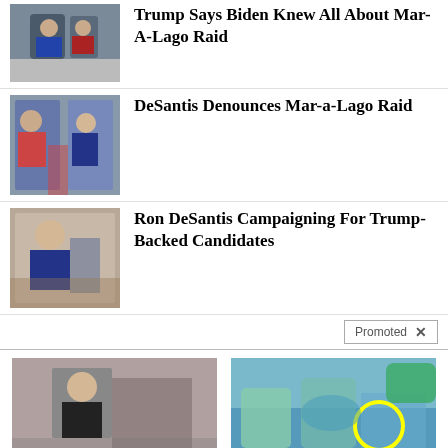[Figure (photo): Trump with associates near plane]
Trump Says Biden Knew All About Mar-A-Lago Raid
[Figure (photo): Trump and DeSantis together]
DeSantis Denounces Mar-a-Lago Raid
[Figure (photo): Ron DeSantis speaking]
Ron DeSantis Campaigning For Trump-Backed Candidates
Promoted X
[Figure (photo): Nancy Pelosi themed video thumbnail]
Nancy Pelosi Wants This Video Destroyed — Watch Now Before It's Banned
162,444
[Figure (photo): People in a pool, summer photo]
Can't Wait For Summer? You've Got To See These Pics
124,008